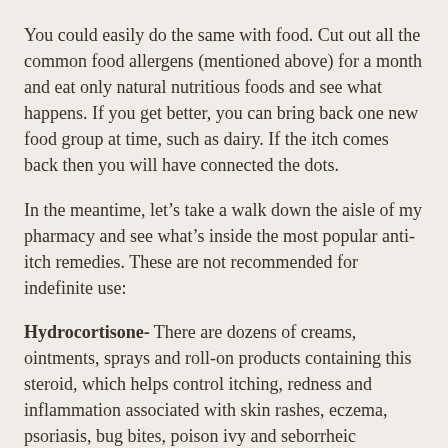You could easily do the same with food. Cut out all the common food allergens (mentioned above) for a month and eat only natural nutritious foods and see what happens. If you get better, you can bring back one new food group at time, such as dairy. If the itch comes back then you will have connected the dots.
In the meantime, let’s take a walk down the aisle of my pharmacy and see what’s inside the most popular anti-itch remedies. These are not recommended for indefinite use:
Hydrocortisone- There are dozens of creams, ointments, sprays and roll-on products containing this steroid, which helps control itching, redness and inflammation associated with skin rashes, eczema, psoriasis, bug bites, poison ivy and seborrheic dermatitis.